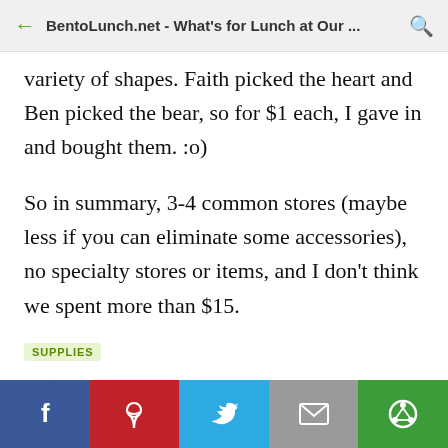BentoLunch.net - What's for Lunch at Our ...
variety of shapes. Faith picked the heart and Ben picked the bear, so for $1 each, I gave in and bought them. :o)
So in summary, 3-4 common stores (maybe less if you can eliminate some accessories), no specialty stores or items, and I don't think we spent more than $15.
SUPPLIES
[Figure (other): Share icon (network/share symbol) in green]